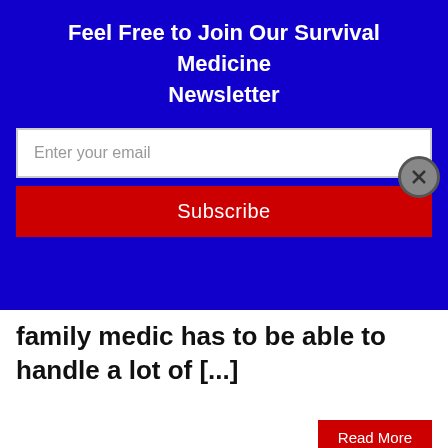Feel Free to Join Our Survival Medicine Newsletter
Enter your email
Subscribe
family medic has to be able to handle a lot of [...]
Read More
Survival Medicine Podcast: Cellulitis, Abscesses, More
9 Feb 2021 | Joseph Alton MD
All injuries